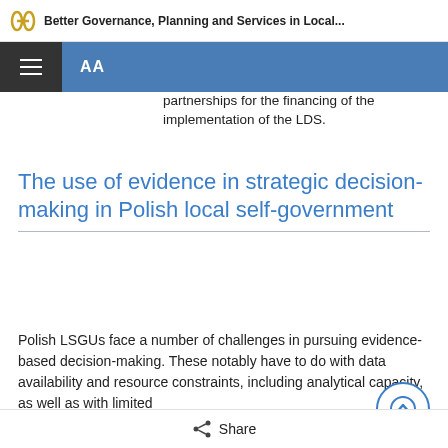Better Governance, Planning and Services in Local...
partnerships for the financing of the implementation of the LDS.
The use of evidence in strategic decision-making in Polish local self-government
Polish LSGUs face a number of challenges in pursuing evidence-based decision-making. These notably have to do with data availability and resource constraints, including analytical capacity, as well as with limited
Share